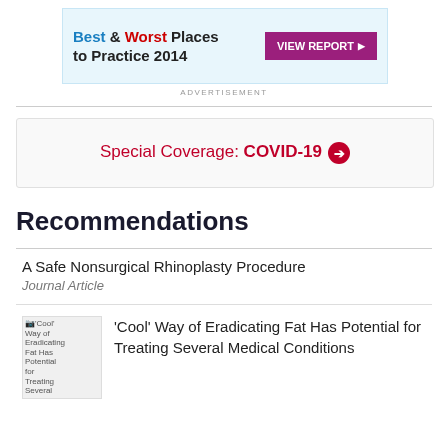[Figure (other): Advertisement banner: Best & Worst Places to Practice 2014 with VIEW REPORT button]
ADVERTISEMENT
Special Coverage: COVID-19 →
Recommendations
A Safe Nonsurgical Rhinoplasty Procedure
Journal Article
[Figure (photo): Thumbnail image for 'Cool' Way of Eradicating Fat article]
'Cool' Way of Eradicating Fat Has Potential for Treating Several Medical Conditions